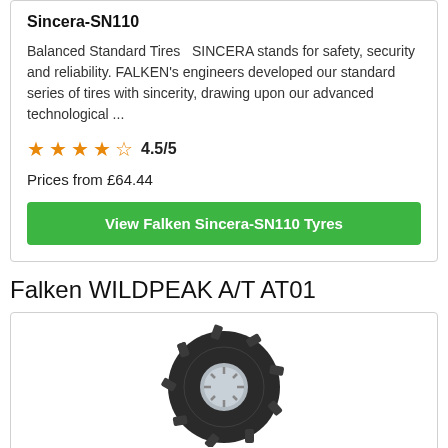Sincera-SN110
Balanced Standard Tires   SINCERA stands for safety, security and reliability. FALKEN's engineers developed our standard series of tires with sincerity, drawing upon our advanced technological ...
4.5/5
Prices from £64.44
View Falken Sincera-SN110 Tyres
Falken WILDPEAK A/T AT01
[Figure (photo): Falken WILDPEAK A/T AT01 tyre image showing tread pattern]